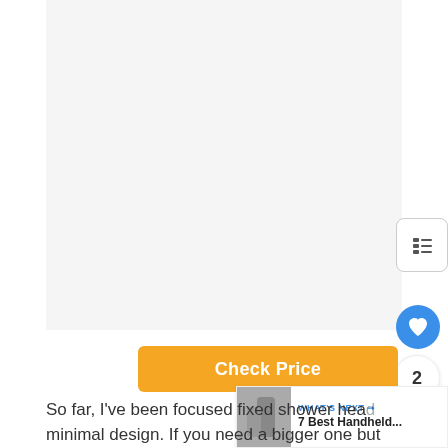[Figure (photo): Large blank/light gray image area representing a product photo placeholder]
[Figure (other): Table of contents icon button (horizontal lines)]
[Figure (other): Heart/like button (blue circle with white heart icon)]
2
[Figure (other): Share button (white circle with share icon)]
Check Price
[Figure (other): WHAT'S NEXT -> 7 Best Handheld... promotional widget with thumbnail image]
So far, I've been focused fixed shower hea... minimal design. If you need a bigger one but still want